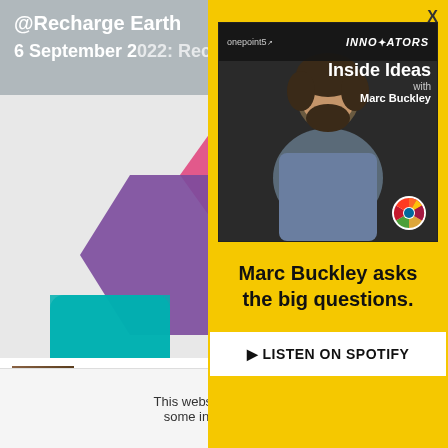@Recharge Earth
6 September 2022: Recharge (fill)
[Figure (illustration): Colorful geometric hexagonal/polygon shapes in pink, purple, teal on light gray background]
[Figure (logo): EU flag and project funding text]
This project
Union's Hor
programme
[Figure (photo): Thumbnail image of soil/earth texture]
Can technology
FOOD | WATER
[Figure (screenshot): Podcast popup overlay on yellow background featuring 'Inside Ideas with Marc Buckley' - onepoint5 and INNOVATORS branding, photo of bearded man, SDG wheel logo]
Marc Buckley asks the big questions.
▶ LISTEN ON SPOTIFY
This website uses cookies to im some information using Goo